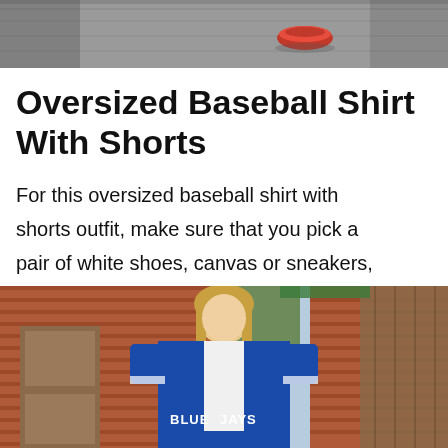[Figure (photo): Top portion of an outdoor photo, appears to show pavement/ground with a red object visible]
Oversized Baseball Shirt With Shorts
For this oversized baseball shirt with shorts outfit, make sure that you pick a pair of white shoes, canvas or sneakers, for a perfect look.
[Figure (photo): A young woman wearing a blue Toronto Blue Jays oversized baseball shirt standing in front of a brick wall and wooden fence outdoors]